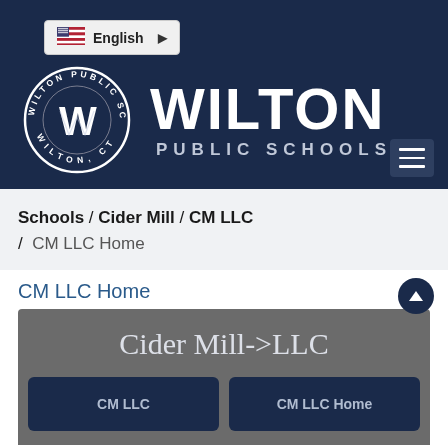[Figure (screenshot): Wilton Public Schools website header with language selector, circular WPS logo, and WILTON PUBLIC SCHOOLS text logo on dark navy background with hamburger menu icon]
Schools / Cider Mill / CM LLC / CM LLC Home
CM LLC Home
[Figure (screenshot): Gray panel showing 'Cider Mill->LLC' heading with two dark blue navigation cards labeled 'CM LLC' and 'CM LLC Home']